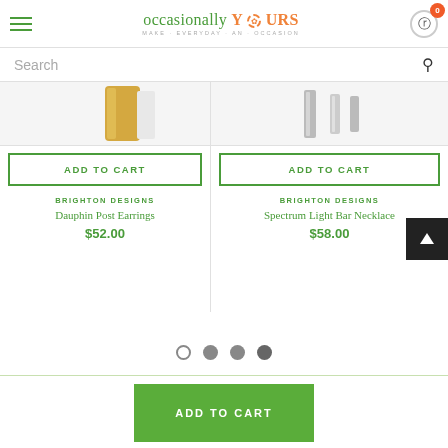occasionally YOURS — MAKE EVERYDAY AN OCCASION — cart 0
Search
[Figure (screenshot): Product image area showing partial view of Dauphin Post Earrings (golden/amber colored bar earring)]
ADD TO CART
BRIGHTON DESIGNS
Dauphin Post Earrings
$52.00
[Figure (screenshot): Product image area showing partial view of Spectrum Light Bar Necklace (silver bar necklace pieces)]
ADD TO CART
BRIGHTON DESIGNS
Spectrum Light Bar Necklace
$58.00
ADD TO CART